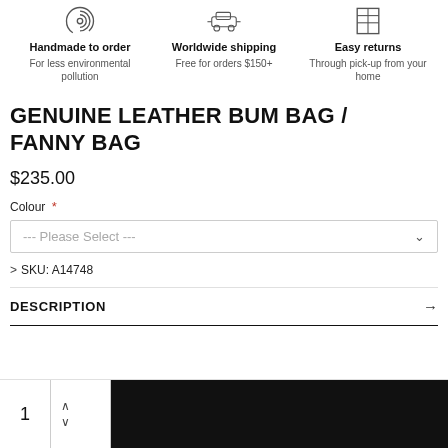[Figure (infographic): Three column feature icons row: handmade icon (fingerprint/spiral), worldwide shipping icon (car/vehicle), easy returns icon (grid/building)]
Handmade to order
For less environmental pollution
Worldwide shipping
Free for orders $150+
Easy returns
Through pick-up from your home
GENUINE LEATHER BUM BAG / FANNY BAG
$235.00
Colour *
--- Please Select ---
> SKU: A14748
DESCRIPTION
1